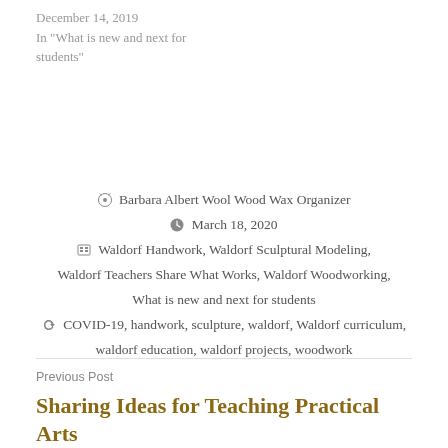December 14, 2019
In "What is new and next for students"
Barbara Albert Wool Wood Wax Organizer
March 18, 2020
Waldorf Handwork, Waldorf Sculptural Modeling, Waldorf Teachers Share What Works, Waldorf Woodworking, What is new and next for students
COVID-19, handwork, sculpture, waldorf, Waldorf curriculum, waldorf education, waldorf projects, woodwork
Previous Post
Sharing Ideas for Teaching Practical Arts from Zoom Call